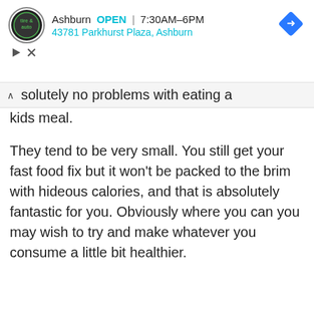[Figure (screenshot): Ad banner for a Tire & Auto service location in Ashburn. Shows circular logo with 'tire & auto' text, store name 'Ashburn', status 'OPEN', hours '7:30AM–6PM', address '43781 Parkhurst Plaza, Ashburn', and a blue diamond navigation icon. Below are play and close control icons.]
solutely no problems with eating a kids meal.
They tend to be very small. You still get your fast food fix but it won't be packed to the brim with hideous calories, and that is absolutely fantastic for you. Obviously where you can you may wish to try and make whatever you consume a little bit healthier.